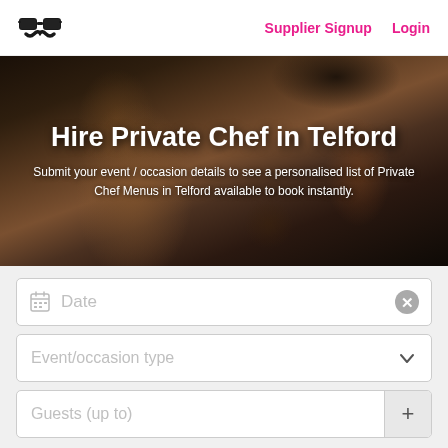Supplier Signup | Login
[Figure (screenshot): Website screenshot showing a private chef booking service for Telford. Header with logo (sunglasses icon) and navigation links 'Supplier Signup' and 'Login' in pink. Hero section with dark photo of a chef working, overlaid with white text: 'Hire Private Chef in Telford' and subtitle. Below is a booking form with Date field, Event/occasion type dropdown, and Guests (up to) field with + button.]
Hire Private Chef in Telford
Submit your event / occasion details to see a personalised list of Private Chef Menus in Telford available to book instantly.